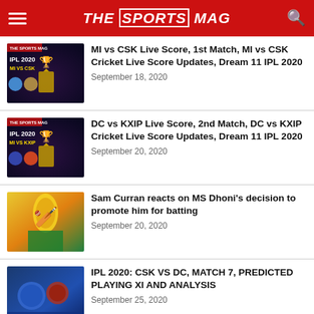THE SPORTS MAG
MI vs CSK Live Score, 1st Match, MI vs CSK Cricket Live Score Updates, Dream 11 IPL 2020
September 18, 2020
DC vs KXIP Live Score, 2nd Match, DC vs KXIP Cricket Live Score Updates, Dream 11 IPL 2020
September 20, 2020
Sam Curran reacts on MS Dhoni's decision to promote him for batting
September 20, 2020
IPL 2020: CSK VS DC, MATCH 7, PREDICTED PLAYING XI AND ANALYSIS
September 25, 2020